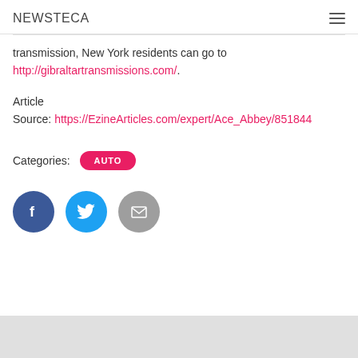NEWSTECA
transmission, New York residents can go to http://gibraltartransmissions.com/.
Article
Source: https://EzineArticles.com/expert/Ace_Abbey/8518444
Categories: AUTO
[Figure (infographic): Three circular social media share buttons: Facebook (dark blue with 'f' icon), Twitter (light blue with bird icon), Email (gray with envelope icon)]